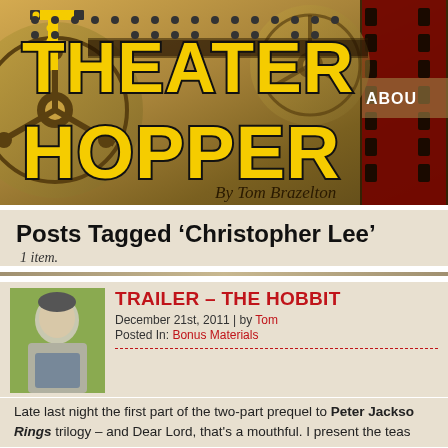[Figure (illustration): Theater Hopper website header banner with film reel background, large yellow dotted-style logo text reading THEATER HOPPER with black outline, byline 'By Tom Brazelton', and partial ABOUT button in top right corner]
Posts Tagged ‘Christopher Lee’
1 item.
TRAILER – THE HOBBIT
December 21st, 2011 | by Tom
Posted In: Bonus Materials
Late last night the first part of the two-part prequel to Peter Jackson’s Lord of the Rings trilogy – and Dear Lord, that’s a mouthful. I present the teas...